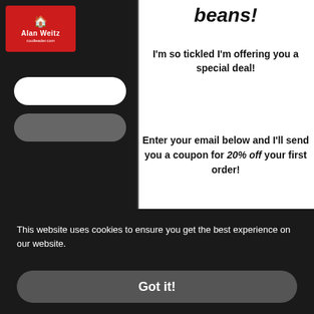[Figure (screenshot): Alan Weitz logo on red background in top-left corner]
[Figure (screenshot): Left dark panel with white and gray input fields and partial checkbox text reading 'I'd like to receive exclusiv']
beans!
I'm so tickled I'm offering you a special deal!
Enter your email below and I'll send you a coupon for 20% off your first order!
Nice... right?
[Figure (screenshot): Email input field with placeholder text 'Email' and a gray submit button below]
This website uses cookies to ensure you get the best experience on our website.
Got it!